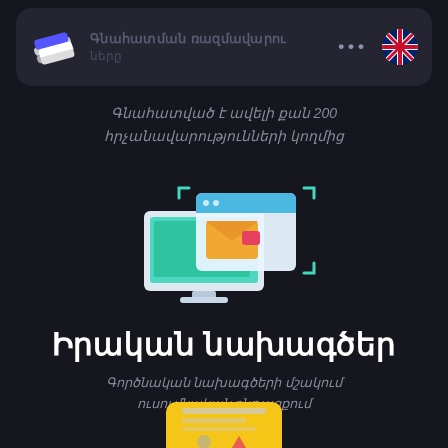[Figure (screenshot): App header bar with stacked-books logo icon on the left, Armenian text title and subtitle in the center (blurred/faded), three dots menu icon, and UK flag circle on the right]
Գնահատված է ավելի քան 200 հրچանավարությունների կողմից
[Figure (illustration): Illustration of a computer monitor displaying a green website/app interface with an email/envelope graphic and colored UI elements, with expand/resize corner arrows in teal]
Իրական նախագծեր
Գործնական նախագծերի մշակում ուսումնական ընթացքում
[Figure (illustration): Partial view of a yellow-framed certificate or document card at the bottom of the page]